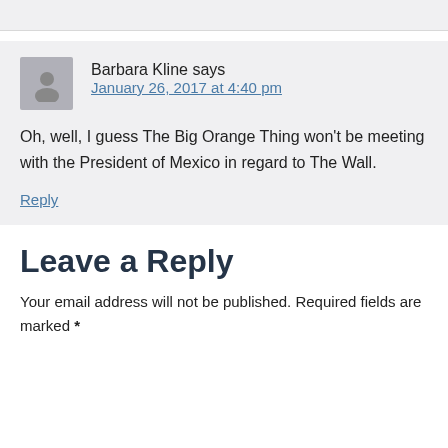Barbara Kline says
January 26, 2017 at 4:40 pm
Oh, well, I guess The Big Orange Thing won't be meeting with the President of Mexico in regard to The Wall.
Reply
Leave a Reply
Your email address will not be published. Required fields are marked *